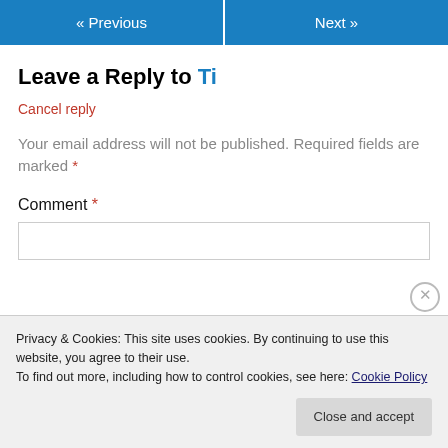« Previous   Next »
Leave a Reply to Ti
Cancel reply
Your email address will not be published. Required fields are marked *
Comment *
Privacy & Cookies: This site uses cookies. By continuing to use this website, you agree to their use.
To find out more, including how to control cookies, see here: Cookie Policy
Close and accept